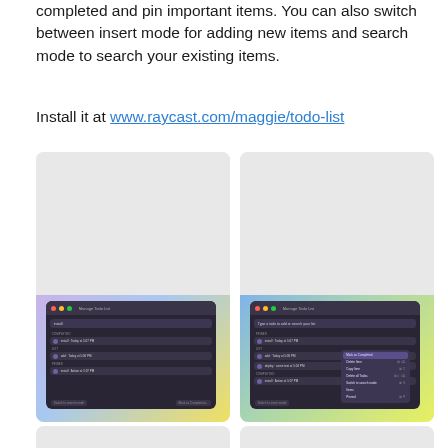completed and pin important items. You can also switch between insert mode for adding new items and search mode to search your existing items.
Install it at www.raycast.com/maggie/todo-list
[Figure (screenshot): Screenshot of a Raycast Todo List extension window showing insert mode with a todo item entry, categories section, and a todo row with 'Mark as Completed' action button]
[Figure (screenshot): Screenshot of a Raycast Todo List extension window showing search mode with a context menu open displaying options: Mark as Completed, Delete Item, Copy Item, Delete all Todos, Switch to search mode, and Items sections]